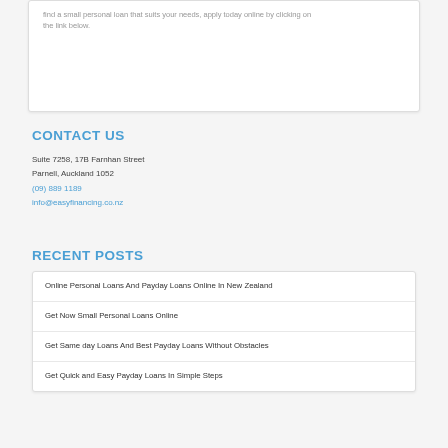find a small personal loan that suits your needs, apply today online by clicking on the link below.
CONTACT US
Suite 7258, 17B Farnhan Street
Parnell, Auckland 1052
(09) 889 1189
info@easyfinancing.co.nz
RECENT POSTS
Online Personal Loans And Payday Loans Online In New Zealand
Get Now Small Personal Loans Online
Get Same day Loans And Best Payday Loans Without Obstacles
Get Quick and Easy Payday Loans In Simple Steps